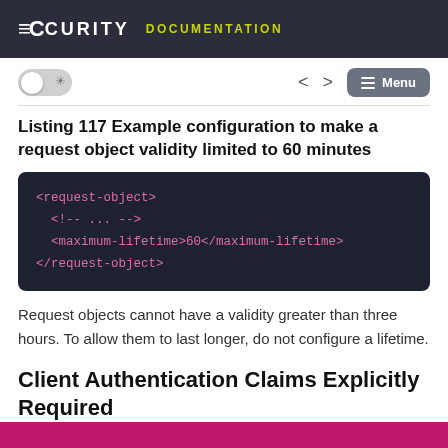Curity DOCUMENTATION
Listing 117 Example configuration to make a request object validity limited to 60 minutes
[Figure (screenshot): Code block showing XML configuration: <request-object> <!-- ... --> <maximum-lifetime>60</maximum-lifetime> </request-object>]
Request objects cannot have a validity greater than three hours. To allow them to last longer, do not configure a lifetime.
Client Authentication Claims Explicitly Required